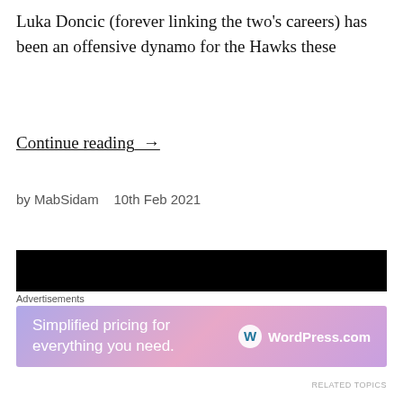Luka Doncic (forever linking the two's careers) has been an offensive dynamo for the Hawks these
Continue reading →
by MabSidam   10th Feb 2021
[Figure (photo): Black background thumbnail image with yellow bold text reading 'Pedro Neto' partially visible at bottom]
Advertisements
[Figure (other): WordPress.com advertisement banner with gradient background reading 'Simplified pricing for everything you need.' with WordPress.com logo]